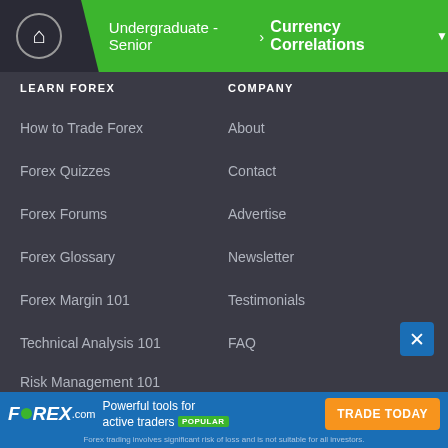Undergraduate - Senior > Currency Correlations
LEARN FOREX
How to Trade Forex
Forex Quizzes
Forex Forums
Forex Glossary
Forex Margin 101
Technical Analysis 101
Risk Management 101
COMPANY
About
Contact
Advertise
Newsletter
Testimonials
FAQ
FOREX TOOLS
FOREX.com — Powerful tools for active traders POPULAR — TRADE TODAY — Forex trading involves significant risk of loss and is not suitable for all investors.